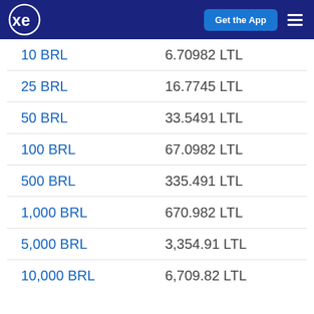xe — Get the App
| BRL | LTL |
| --- | --- |
| 10 BRL | 6.70982 LTL |
| 25 BRL | 16.7745 LTL |
| 50 BRL | 33.5491 LTL |
| 100 BRL | 67.0982 LTL |
| 500 BRL | 335.491 LTL |
| 1,000 BRL | 670.982 LTL |
| 5,000 BRL | 3,354.91 LTL |
| 10,000 BRL | 6,709.82 LTL |